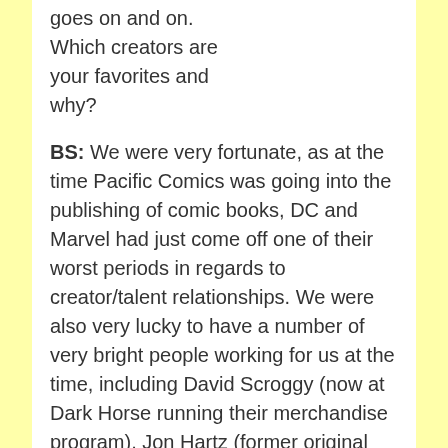goes on and on. Which creators are your favorites and why?
BS: We were very fortunate, as at the time Pacific Comics was going into the publishing of comic books, DC and Marvel had just come off one of their worst periods in regards to creator/talent relationships. We were also very lucky to have a number of very bright people working for us at the time, including David Scroggy (now at Dark Horse running their merchandise program), Jon Hartz (former original Valiant EVP), Bill Lund (one of the original founders and 1st chairman of the San Diego Comic-Con), and many others.
I had played with the idea of “ranking” the talent/creators based on sales of the books they had worked on over the recent past few years (somewhat similar to sports stats). At that time (before excel), I put